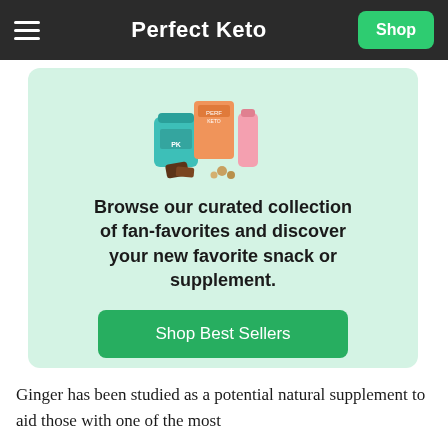Perfect Keto
[Figure (photo): Collection of Perfect Keto products including a teal jar, orange box, chocolate pieces, and snack items on a mint green background]
Browse our curated collection of fan-favorites and discover your new favorite snack or supplement.
Shop Best Sellers
Ginger has been studied as a potential natural supplement to aid those with one of the most